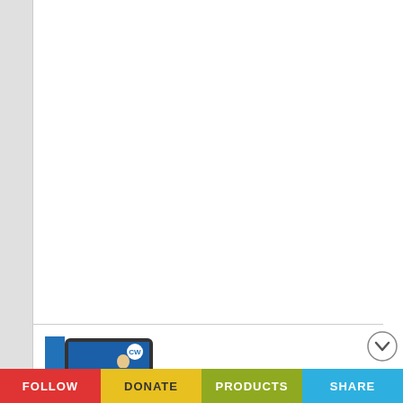[Figure (illustration): Book cover for 'How To Be A 3% Man' eBook by Corey Wayne, displayed on a tablet device, with a blue sidebar showing 'ebook' text vertically]
[Figure (logo): Amazon Kindle logo — 'amazon' in black bold and 'kindle' in orange, with Amazon smile arc underneath]
How To Be A 3% Man eBook
Kindle Version | $9.99
Get it at Amazon.com
[Figure (other): BUY NOW button (partially visible, blue)]
FOLLOW   DONATE   PRODUCTS   SHARE